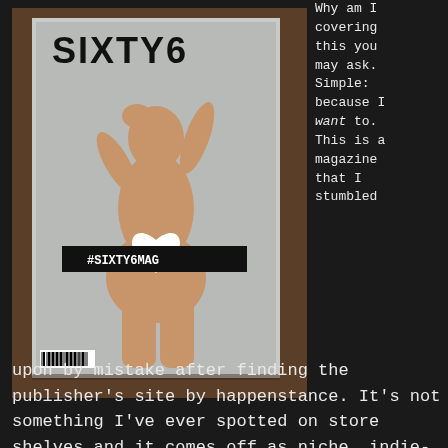[Figure (photo): A photograph of a magazine cover placed on a wooden surface. The magazine is titled 'SIXTY6' in large bold letters at the top. It features a nude woman posed with one hand covering her mouth and one raised near her head. A white heart shape covers the pelvic area. A black banner across the middle reads '#SIXTY6MAG'. A barcode is visible at the bottom left of the magazine.]
Why am I covering this you may ask. Simple: because I want to. This is a magazine that I stumbled upon by mistake after finding the publisher's site by happenstance. It's not something I've ever spotted on store shelves and it comes off as niche, indie-ish publication. The